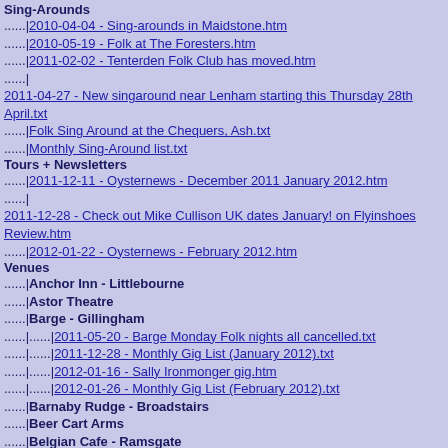Sing-Arounds
2010-04-04 - Sing-arounds in Maidstone.htm
2010-05-19 - Folk at The Foresters.htm
2011-02-02 - Tenterden Folk Club has moved.htm
2011-04-27 - New singaround near Lenham starting this Thursday 28th April.txt
Folk Sing Around at the Chequers, Ash.txt
Monthly Sing-Around list.txt
Tours + Newsletters
2011-12-11 - Oysternews - December 2011 January 2012.htm
2011-12-28 - Check out Mike Cullison UK dates January! on Flyinshoes Review.htm
2012-01-22 - Oysternews - February 2012.htm
Venues
Anchor Inn - Littlebourne
Astor Theatre
Barge - Gillingham
2011-05-20 - Barge Monday Folk nights all cancelled.txt
2011-12-28 - Monthly Gig List (January 2012).txt
2012-01-16 - Sally Ironmonger gig.htm
2012-01-26 - Monthly Gig List (February 2012).txt
Barnaby Rudge - Broadstairs
Beer Cart Arms
Belgian Cafe - Ramsgate
Bottleneck Blues
2012-01-22 - Bottleneck Blues Club.htm